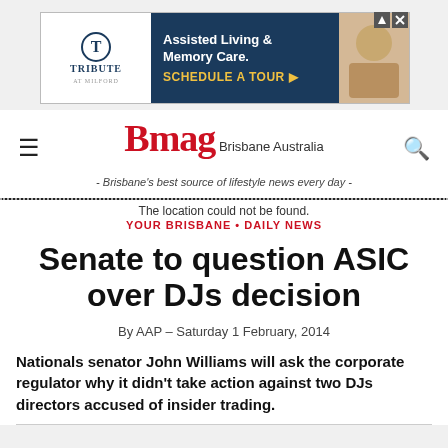[Figure (other): Advertisement banner for Tribute at Milford - Assisted Living & Memory Care with 'Schedule a Tour' call to action]
Bmag Brisbane Australia - Brisbane's best source of lifestyle news every day -
The location could not be found.
YOUR BRISBANE • DAILY NEWS
Senate to question ASIC over DJs decision
By AAP – Saturday 1 February, 2014
Nationals senator John Williams will ask the corporate regulator why it didn't take action against two DJs directors accused of insider trading.